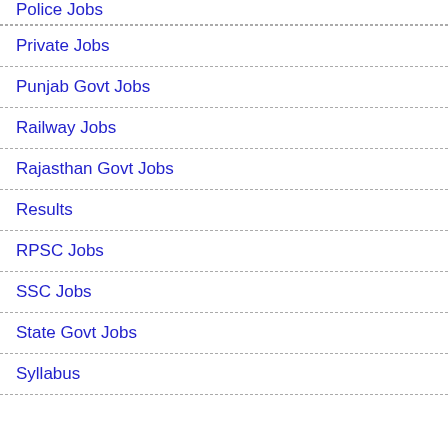Police Jobs
Private Jobs
Punjab Govt Jobs
Railway Jobs
Rajasthan Govt Jobs
Results
RPSC Jobs
SSC Jobs
State Govt Jobs
Syllabus